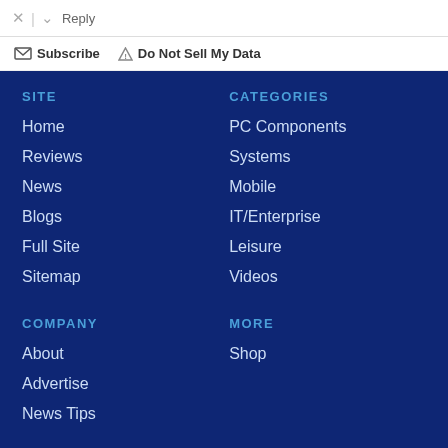Reply
Subscribe
Do Not Sell My Data
SITE
CATEGORIES
Home
PC Components
Reviews
Systems
News
Mobile
Blogs
IT/Enterprise
Full Site
Leisure
Sitemap
Videos
COMPANY
MORE
About
Shop
Advertise
News Tips